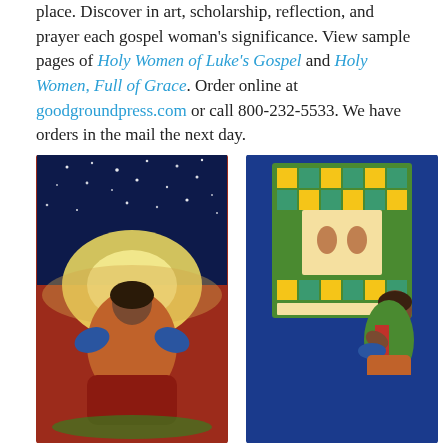place. Discover in art, scholarship, reflection, and prayer each gospel woman's significance. View sample pages of Holy Women of Luke's Gospel and Holy Women, Full of Grace. Order online at goodgroundpress.com or call 800-232-5533. We have orders in the mail the next day.
[Figure (illustration): Two book covers side by side. Left: 'Holy Women of Luke's Gospel' with red background showing a woman cradling a globe under a starry night sky. Right: 'Holy Women, Full of Grace' with blue background showing a woman holding a bowl beside a colorful quilt hanging on the wall.]